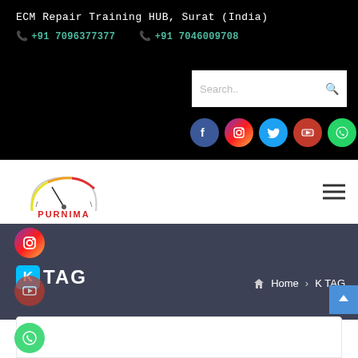ECM Repair Training HUB, Surat (India)
+91 7096377377   +91 7046009708
[Figure (screenshot): Search box with search icon]
[Figure (screenshot): Social media icons row: Facebook, Instagram, Twitter, YouTube, WhatsApp]
[Figure (logo): Purnima Autometer logo with speedometer graphic]
[Figure (screenshot): Hamburger menu icon]
K TAG
Home > K TAG